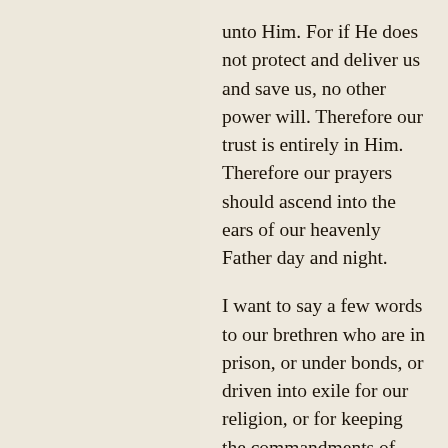unto Him. For if He does not protect and deliver us and save us, no other power will. Therefore our trust is entirely in Him. Therefore our prayers should ascend into the ears of our heavenly Father day and night.
I want to say a few words to our brethren who are in prison, or under bonds, or driven into exile for our religion, or for keeping the commandments of God. You should not think that any strange thing has happened unto you. Persecution is a legacy that has been handed